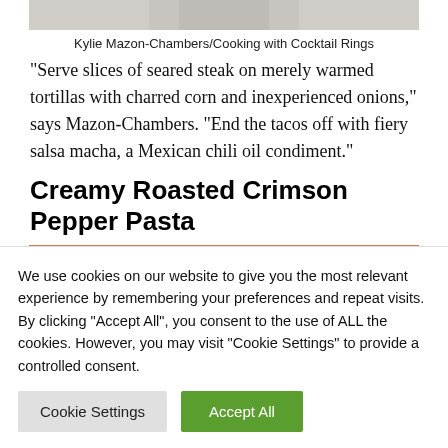[Figure (photo): Partial photo of a dish visible at top of page (cropped)]
Kylie Mazon-Chambers/Cooking with Cocktail Rings
“Serve slices of seared steak on merely warmed tortillas with charred corn and inexperienced onions,” says Mazon-Chambers. “End the tacos off with fiery salsa macha, a Mexican chili oil condiment.”
Creamy Roasted Crimson Pepper Pasta
[Figure (photo): Partial photo of creamy roasted crimson pepper pasta dish, showing orange pasta with green herbs on top]
We use cookies on our website to give you the most relevant experience by remembering your preferences and repeat visits. By clicking “Accept All”, you consent to the use of ALL the cookies. However, you may visit "Cookie Settings" to provide a controlled consent.